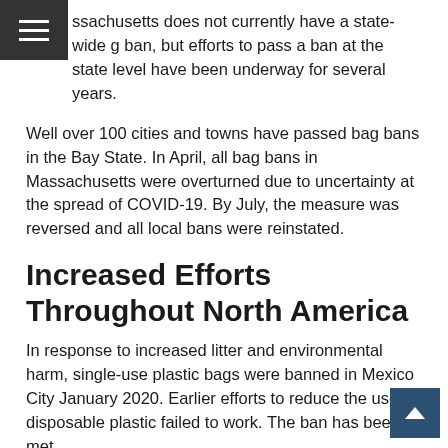ssachusetts does not currently have a state-wide g ban, but efforts to pass a ban at the state level have been underway for several years.
Well over 100 cities and towns have passed bag bans in the Bay State. In April, all bag bans in Massachusetts were overturned due to uncertainty at the spread of COVID-19. By July, the measure was reversed and all local bans were reinstated.
Increased Efforts Throughout North America
In response to increased litter and environmental harm, single-use plastic bags were banned in Mexico City January 2020. Earlier efforts to reduce the use of disposable plastic failed to work. The ban has been met